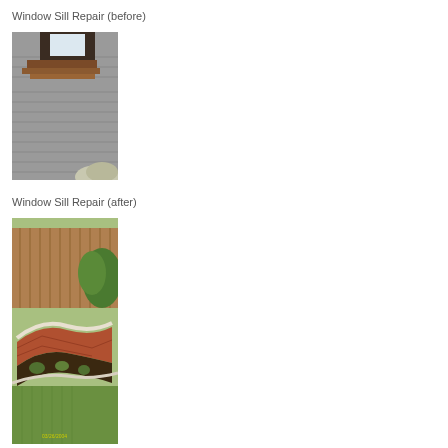Window Sill Repair (before)
[Figure (photo): Photo of a damaged window sill showing deteriorated brick and exposed wood trim on the exterior of a building, taken before repair.]
Window Sill Repair (after)
[Figure (photo): Photo of a curved brick garden bed retaining wall with small plants in soil, grass in foreground and wooden fence behind, dated 03/26/2004. This appears to be the after photo for window sill repair context.]